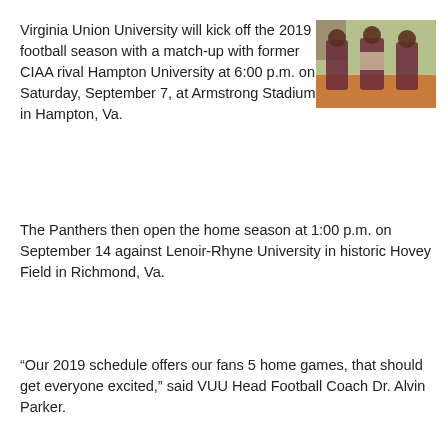Virginia Union University will kick off the 2019 football season with a match-up with former CIAA rival Hampton University at 6:00 p.m. on Saturday, September 7, at Armstrong Stadium in Hampton, Va.
[Figure (photo): Three people in maroon and grey sports uniforms posing together outdoors on a sports field]
The Panthers then open the home season at 1:00 p.m. on September 14 against Lenoir-Rhyne University in historic Hovey Field in Richmond, Va.
“Our 2019 schedule offers our fans 5 home games, that should get everyone excited,” said VUU Head Football Coach Dr. Alvin Parker.